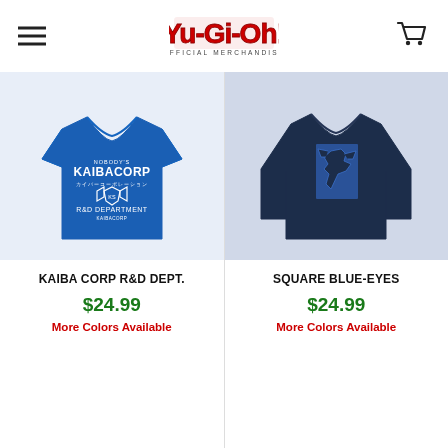Yu-Gi-Oh! Official Merchandise
[Figure (photo): Blue t-shirt with KaibaCorp R&D Department logo in white]
KAIBA CORP R&D DEPT.
$24.99
More Colors Available
[Figure (photo): Navy blue long sleeve shirt with Square Blue-Eyes dragon graphic on back]
SQUARE BLUE-EYES
$24.99
More Colors Available